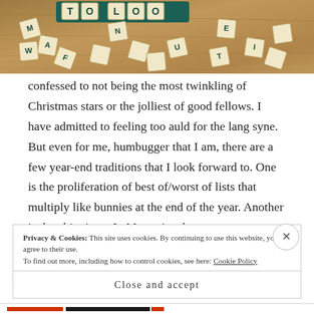[Figure (photo): Scrabble tiles scattered on a wooden table surface, with a teal tile holder/rack visible at the top. Letters visible include M, A, F, N, E, U, I, T, and others.]
confessed to not being the most twinkling of Christmas stars or the jolliest of good fellows. I have admitted to feeling too auld for the lang syne. But even for me, humbugger that I am, there are a few year-end traditions that I look forward to. One is the proliferation of best of/worst of lists that multiply like bunnies at the end of the year. Another is the ubiquitous In Memorium homages to
Privacy & Cookies: This site uses cookies. By continuing to use this website, you agree to their use.
To find out more, including how to control cookies, see here: Cookie Policy
Close and accept